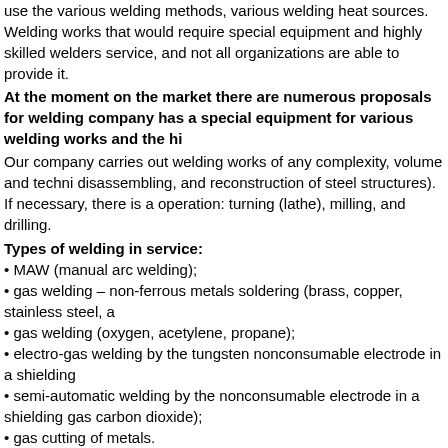use the various welding methods, various welding heat sources.
Welding works that would require special equipment and highly skilled welders service, and not all organizations are able to provide it.
At the moment on the market there are numerous proposals for welding company has a special equipment for various welding works and the hi
Our company carries out welding works of any complexity, volume and techni disassembling, and reconstruction of steel structures). If necessary, there is a operation: turning (lathe), milling, and drilling.
Types of welding in service:
MAW (manual arc welding);
gas welding – non-ferrous metals soldering (brass, copper, stainless steel, a
gas welding (oxygen, acetylene, propane);
electro-gas welding by the tungsten nonconsumable electrode in a shielding
semi-automatic welding by the nonconsumable electrode in a shielding gas carbon dioxide);
gas cutting of metals.
As the welding base material can be used:
aluminum and its alloys;
non-ferrous metals and alloys (brass, copper);
low- and high-alloy steels.
At the moment we are ready to offer our customers high quality service
the industrial plants process pipelines replacement and repair;